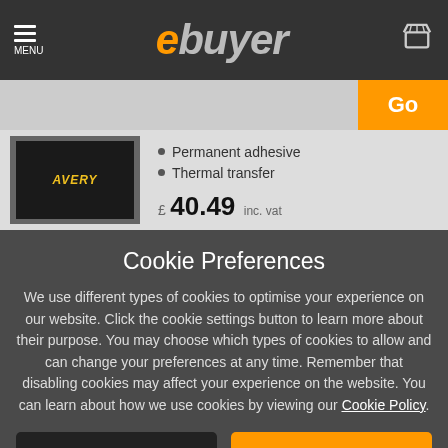[Figure (screenshot): Ebuyer website header with hamburger menu, orange e logo with grey 'buyer' text, and shopping cart icon]
[Figure (screenshot): Search bar with grey input field and orange Go button]
[Figure (photo): Product image of a label roll in dark canister with yellow AVERY branding]
Permanent adhesive
Thermal transfer
£ 40.49 inc. vat
Cookie Preferences
We use different types of cookies to optimise your experience on our website. Click the cookie settings button to learn more about their purpose. You may choose which types of cookies to allow and can change your preferences at any time. Remember that disabling cookies may affect your experience on the website. You can learn about how we use cookies by viewing our Cookie Policy.
Amend Your Preference
✓ Accept All Cookies